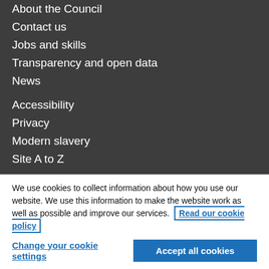About the Council
Contact us
Jobs and skills
Transparency and open data
News
Accessibility
Privacy
Modern slavery
Site A to Z
Follo...
We use cookies to collect information about how you use our website. We use this information to make the website work as well as possible and improve our services. Read our cookie policy
Change your cookie settings
Accept all cookies